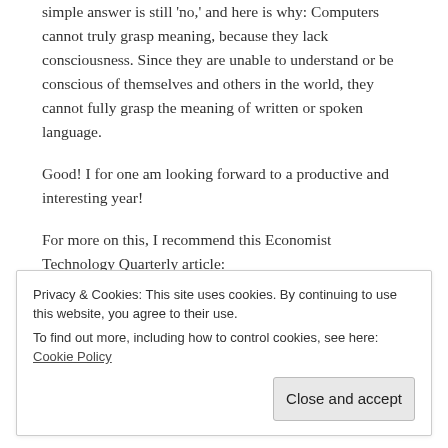simple answer is still 'no,' and here is why: Computers cannot truly grasp meaning, because they lack consciousness. Since they are unable to understand or be conscious of themselves and others in the world, they cannot fully grasp the meaning of written or spoken language.
Good! I for one am looking forward to a productive and interesting year!
For more on this, I recommend this Economist Technology Quarterly article: http://www.economist.com/technology-quarterly/2017-05-01/language
Privacy & Cookies: This site uses cookies. By continuing to use this website, you agree to their use. To find out more, including how to control cookies, see here: Cookie Policy
Close and accept